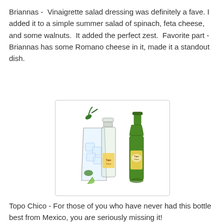Briannas -  Vinaigrette salad dressing was definitely a fave.  I added it to a simple summer salad of spinach, feta cheese, and some walnuts.  It added the perfect zest.  Favorite part - Briannas has some Romano cheese in it, made it a standout dish.
[Figure (photo): Photo of Topo Chico mineral water bottles: a glass with ice and a jalapeño garnish next to an open clear bottle on the left, and a green Topo Chico bottle on the right.]
Topo Chico - For those of you who have never had this bottle best from Mexico, you are seriously missing it!